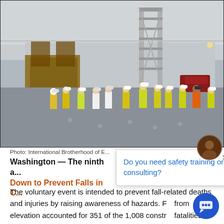[Figure (photo): Construction site photo showing approximately 15-20 workers in yellow high-visibility vests and hard hats standing socially distanced on a large concrete floor inside an unfinished warehouse or large building. Scaffolding tower visible in background against grey exterior walls.]
Photo: International Brotherhood of E...
Washington — The ninth a... Down to Prevent Falls in C...
The voluntary event is intended to prevent fall-related deaths and injuries by raising awareness of hazards. F... from elevation accounted for 351 of the 1,008 constr... fatalities recorded in 2020, according to the Bureau of Labor
[Figure (screenshot): Chat popup overlay reading 'Do you need safety training or consulting?' with a close X button, a circular avatar icon, and a blue chat widget button in the lower right corner.]